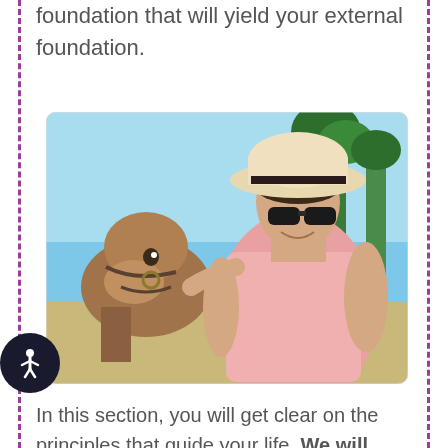foundation that will yield your external foundation.
[Figure (photo): A smiling woman wearing a white sun hat and sunglasses in a pink sleeveless top, posing cheek-to-cheek with a camel, with palm trees and blue sky in the background.]
In this section, you will get clear on the principles that guide your life. We will help you create personal mastery. You will look at your relationships, business and health